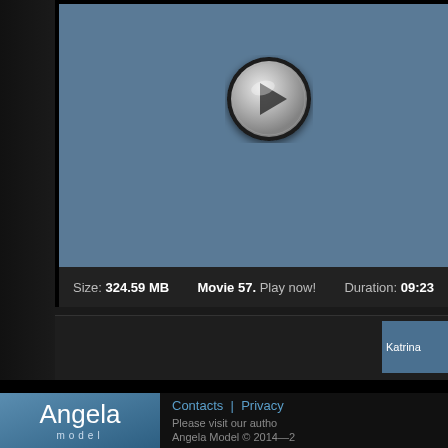[Figure (screenshot): Video player interface showing a blue-grey video screen with a circular play button in the center. Below the video is a dark info bar showing size, movie title, and duration information.]
Size: 324.59 MB   Movie 57. Play now!   Duration: 09:23
[Figure (screenshot): Thumbnail image labeled Katrina in the navigation bar]
[Figure (logo): Angela model logo — white text on blue-grey gradient background showing 'Angela' in large light font and 'model' in smaller spaced text below]
Contacts | Privacy
Please visit our autho
Angela Model © 2014—2